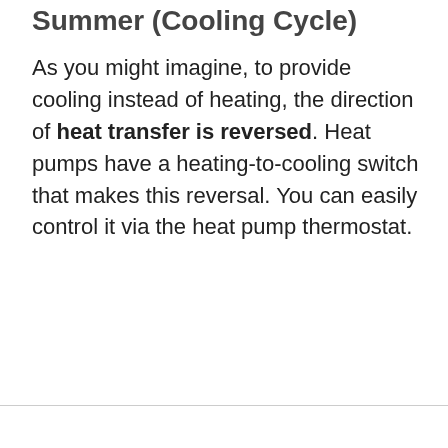Summer (Cooling Cycle)
As you might imagine, to provide cooling instead of heating, the direction of heat transfer is reversed. Heat pumps have a heating-to-cooling switch that makes this reversal. You can easily control it via the heat pump thermostat.